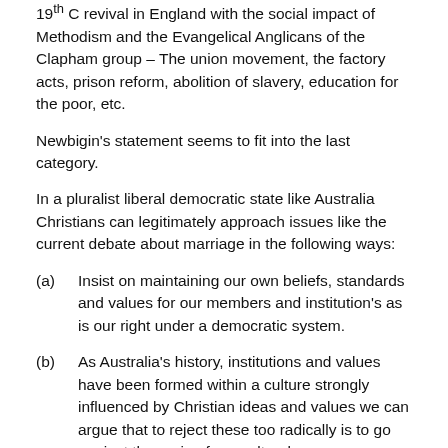19th C revival in England with the social impact of Methodism and the Evangelical Anglicans of the Clapham group – The union movement, the factory acts, prison reform, abolition of slavery, education for the poor, etc.
Newbigin's statement seems to fit into the last category.
In a pluralist liberal democratic state like Australia Christians can legitimately approach issues like the current debate about marriage in the following ways:
(a)    Insist on maintaining our own beliefs, standards and values for our members and institution's as is our right under a democratic system.
(b)   As Australia's history, institutions and values have been formed within a culture strongly influenced by Christian ideas and values we can argue that to reject these too radically is to go against the grain of our cultural